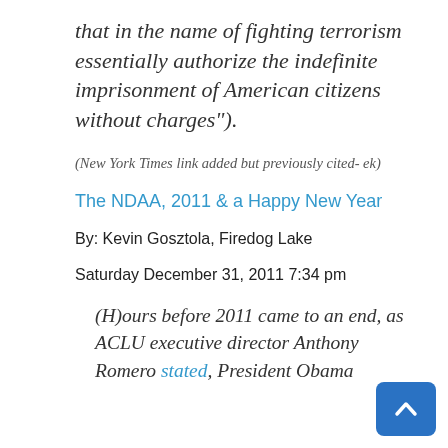that in the name of fighting terrorism essentially authorize the indefinite imprisonment of American citizens without charges").
(New York Times link added but previously cited- ek)
The NDAA, 2011 & a Happy New Year
By: Kevin Gosztola, Firedog Lake
Saturday December 31, 2011 7:34 pm
(H)ours before 2011 came to an end, as ACLU executive director Anthony Romero stated, President Obama